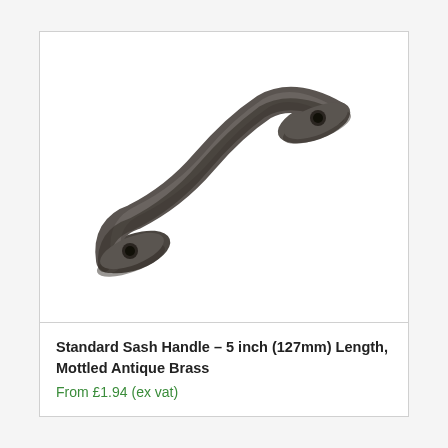[Figure (photo): A dark antique brass sash handle with screw holes at both ends, curved arch shape, viewed diagonally against a white background.]
Standard Sash Handle – 5 inch (127mm) Length, Mottled Antique Brass
From £1.94 (ex vat)